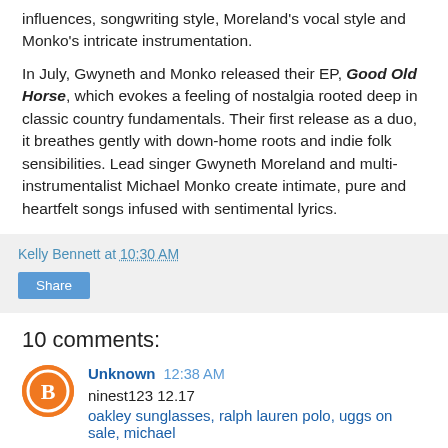influences, songwriting style, Moreland's vocal style and Monko's intricate instrumentation.
In July, Gwyneth and Monko released their EP, Good Old Horse, which evokes a feeling of nostalgia rooted deep in classic country fundamentals. Their first release as a duo, it breathes gently with down-home roots and indie folk sensibilities. Lead singer Gwyneth Moreland and multi-instrumentalist Michael Monko create intimate, pure and heartfelt songs infused with sentimental lyrics.
Kelly Bennett at 10:30 AM
Share
10 comments:
Unknown 12:38 AM
ninest123 12.17
oakley sunglasses, ralph lauren polo, uggs on sale, michael